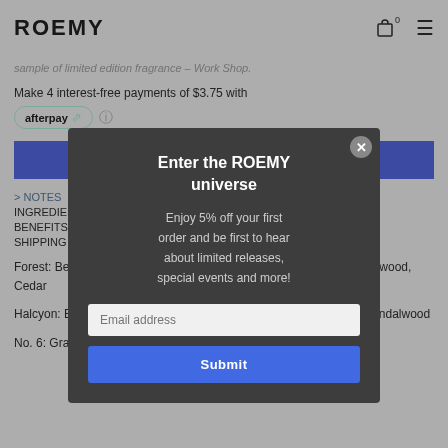ROEMY
sample of limited edition fragrance – Work Shop.
Make 4 interest-free payments of $3.75 with
afterpay
ADD TO CART
> NOTES
INGREDIENTS
BENEFITS
SHIPPING
Forest: Bergamot, Cardamom, Fig, Leather, Violet, Australian Sandalwood, Cedar
Halcyon: Black Pepper, Elemi, Patchouli, Musk, Cedar, Australian Sandalwood
No. 6: Grapefruit, Bergamot, Rhubarb, Orange Blossom
Enter the ROEMY universe
Enjoy 5% off your first order and be first to hear about limited releases, special events and more!
Email address
Submit